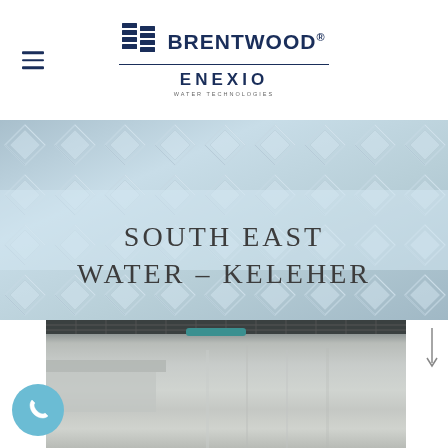BRENTWOOD® / ENEXIO WATER TECHNOLOGIES
[Figure (photo): Diamond plate metal texture background in light blue/grey tones with hero title text overlay reading SOUTH EAST WATER – KELEHER]
SOUTH EAST WATER – KELEHER
[Figure (photo): Concrete water treatment basin/tank facility with metal piping, photographed from above angle]